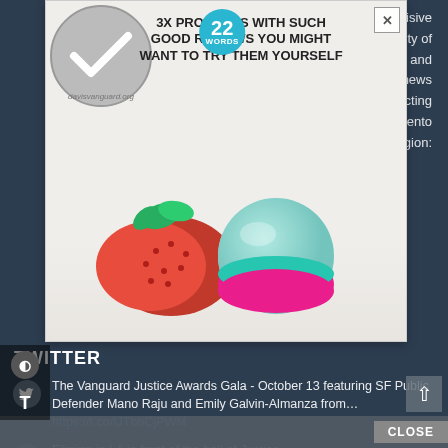[Figure (screenshot): Advertisement overlay showing '22 WORDS' badge and headline '3X PRODUCTS WITH SUCH GOOD REVIEWS YOU MIGHT WANT TO TRY THEM YOURSELF' with an image of a strawberry next to an EOS lip balm product on white background]
with incisive wide variety of ed Davis and aking news coverage on local government and public issues affecting our city, our schools, the county, and the Sacramento Region:
TWITTER
The Vanguard Justice Awards Gala - October 13 featuring SF Public Defender Mano Raju and Emily Galvin-Almanza from… https://t.co/IJTbbCjPWM
Filming in LA in front of the hall of Justice... https://t.co/2XlzrCAV7O
CLOSE